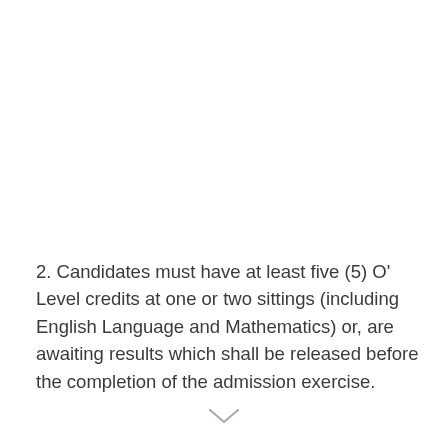2. Candidates must have at least five (5) O' Level credits at one or two sittings (including English Language and Mathematics) or, are awaiting results which shall be released before the completion of the admission exercise.